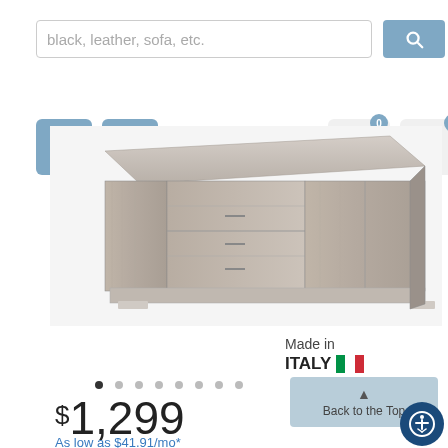[Figure (screenshot): E-commerce website screenshot showing a search bar with placeholder text 'black, leather, sofa, etc.', navigation buttons (menu, user, cart, wishlist), a furniture product image of a light gray wood sideboard/buffet, a 'Made in Italy' badge with Italian flag colors, image carousel dots, a 'Back to the Top' button, a price of $1,299, and financing text 'As low as $41.91/mo*']